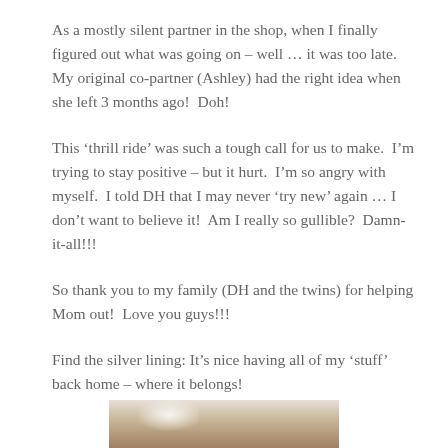As a mostly silent partner in the shop, when I finally figured out what was going on – well … it was too late.  My original co-partner (Ashley) had the right idea when she left 3 months ago!  Doh!
This 'thrill ride' was such a tough call for us to make.  I'm trying to stay positive – but it hurt.  I'm so angry with myself.  I told DH that I may never 'try new' again … I don't want to believe it!  Am I really so gullible?  Damn-it-all!!!
So thank you to my family (DH and the twins) for helping Mom out!  Love you guys!!!
Find the silver lining: It's nice having all of my 'stuff' back home – where it belongs!
[Figure (photo): Partial photo visible at bottom of page, showing what appears to be furniture or home items with a light source creating a bright spot.]